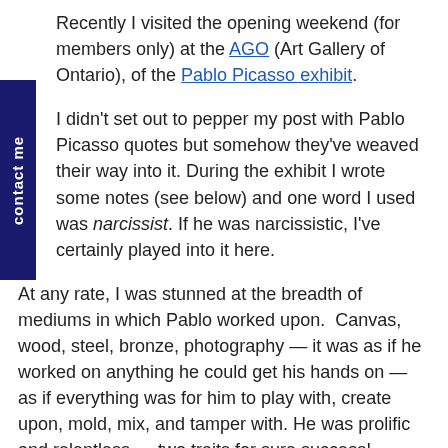Recently I visited the opening weekend (for members only) at the AGO (Art Gallery of Ontario), of the Pablo Picasso exhibit.
I didn't set out to pepper my post with Pablo Picasso quotes but somehow they've weaved their way into it. During the exhibit I wrote some notes (see below) and one word I used was narcissist. If he was narcissistic, I've certainly played into it here.
At any rate, I was stunned at the breadth of mediums in which Pablo worked upon.  Canvas, wood, steel, bronze, photography — it was as if he worked on anything he could get his hands on — as if everything was for him to play with, create upon, mold, mix, and tamper with. He was prolific and relentless — two traits for sure success!
Before this exhibition, I had limited thoughts about Pablo Picasso. I was familiar with his Cubism but I wasn't prepared for what else I saw. You too may have your